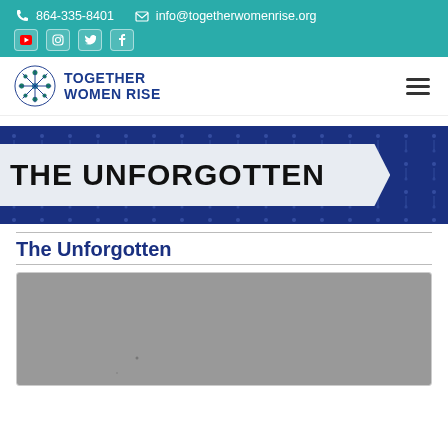864-335-8401  info@togetherwomenrise.org
[Figure (logo): Together Women Rise logo with snowflake graphic and organization name]
THE UNFORGOTTEN
The Unforgotten
[Figure (photo): Gray image placeholder for The Unforgotten article]